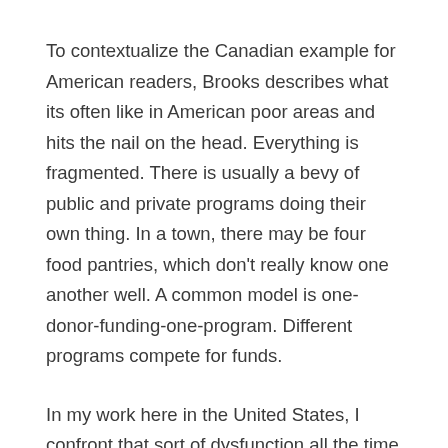To contextualize the Canadian example for American readers, Brooks describes what its often like in American poor areas and hits the nail on the head. Everything is fragmented. There is usually a bevy of public and private programs doing their own thing. In a town, there may be four food pantries, which don't really know one another well. A common model is one-donor-funding-one-program. Different programs compete for funds.
In my work here in the United States, I confront that sort of dysfunction all the time.